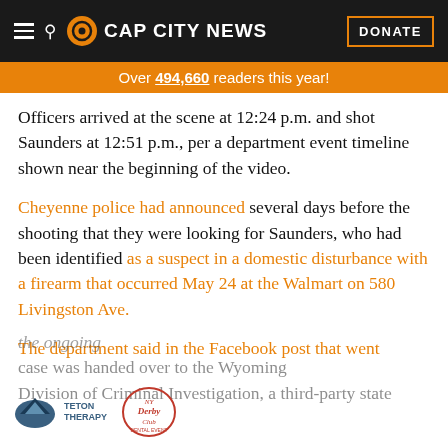CAP CITY NEWS | DONATE
Over 494,660 readers this year!
Officers arrived at the scene at 12:24 p.m. and shot Saunders at 12:51 p.m., per a department event timeline shown near the beginning of the video.
Cheyenne police had announced several days before the shooting that they were looking for Saunders, who had been identified as a suspect in a domestic disturbance with a firearm that occurred May 24 at the Walmart on 580 Livingston Ave.
The department said in the Facebook post that went [ongoing] [case] was handed over to the Wyoming Division of Criminal Investigation, a third-party state